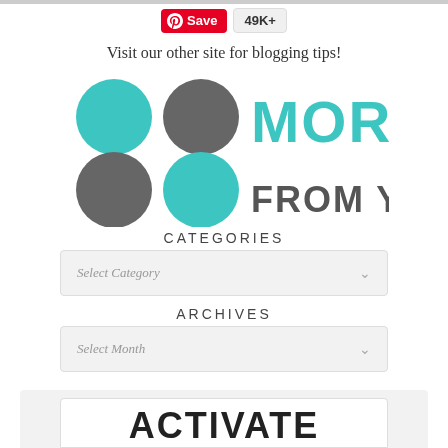[Figure (illustration): Pinterest Save button showing red 'Save' with Pinterest logo and '49K+' count badge]
Visit our other site for blogging tips!
[Figure (logo): More From Your Blog logo with teal and gray circles and teal/gray text]
CATEGORIES
[Figure (other): Select Category dropdown UI element]
ARCHIVES
[Figure (other): Select Month dropdown UI element]
CONNECT WITH ME!
[Figure (other): Social media icons: heart, Facebook, Instagram, Pinterest, Twitter, YouTube]
ACTIVATE